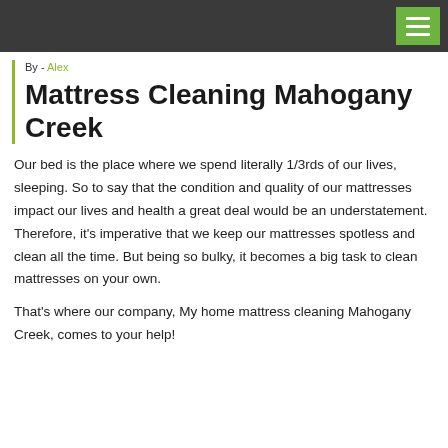By - Alex
Mattress Cleaning Mahogany Creek
Our bed is the place where we spend literally 1/3rds of our lives, sleeping. So to say that the condition and quality of our mattresses impact our lives and health a great deal would be an understatement. Therefore, it's imperative that we keep our mattresses spotless and clean all the time. But being so bulky, it becomes a big task to clean mattresses on your own.
That's where our company, My home mattress cleaning Mahogany Creek, comes to your help!